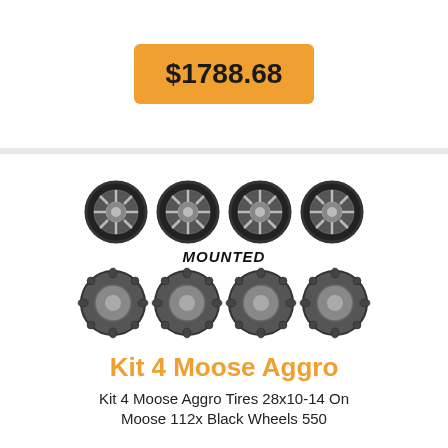$1788.68
[Figure (photo): Four black alloy wheels (top row) with text MOUNTED, and four Moose Aggro off-road tires (bottom row) shown as a mounted kit product image.]
Kit 4 Moose Aggro
Kit 4 Moose Aggro Tires 28x10-14 On Moose 112x Black Wheels 550